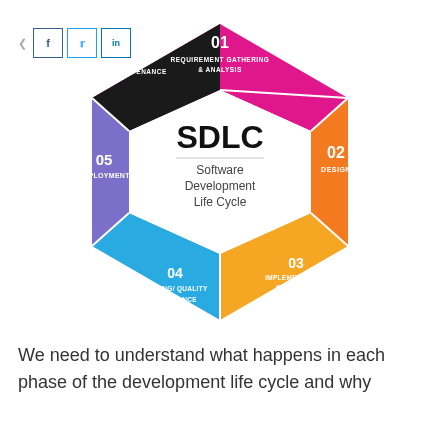[Figure (infographic): SDLC hexagon infographic showing 6 phases: 01 Requirement Gathering & Analysis (pink/magenta), 02 Design (orange), 03 Implementation or Coding (yellow/gold), 04 Testing/Quality Assurance (blue), 05 Deployment (purple/violet), 06 Maintenance (dark/black). Center shows 'SDLC Software Development Life Cycle' in white hexagon.]
We need to understand what happens in each phase of the development life cycle and why